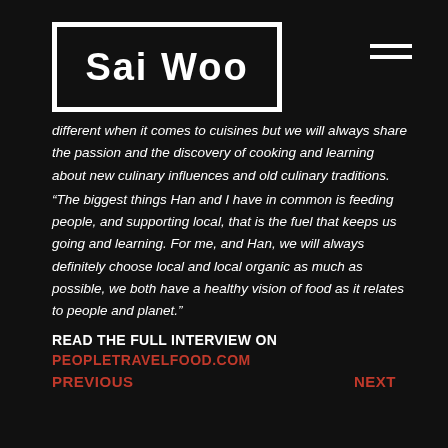[Figure (logo): Sai Woo logo — bold white text 'SAI WOO' inside a white rectangular border on black background]
different when it comes to cuisines but we will always share the passion and the discovery of cooking and learning about new culinary influences and old culinary traditions. “The biggest things Han and I have in common is feeding people, and supporting local, that is the fuel that keeps us going and learning. For me, and Han, we will always definitely choose local and local organic as much as possible, we both have a healthy vision of food as it relates to people and planet.”
READ THE FULL INTERVIEW ON
PEOPLETRAVELFOOD.COM
PREVIOUS    NEXT